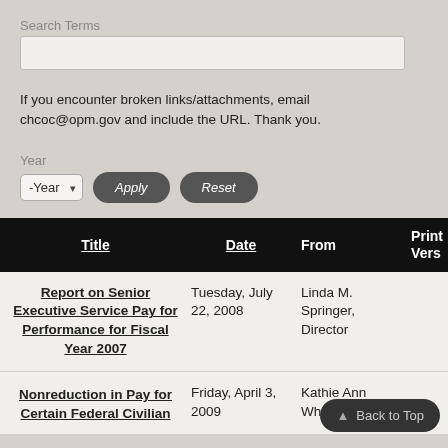Search Terms
If you encounter broken links/attachments, email chcoc@opm.gov and include the URL. Thank you.
Year
| Title | Date | From | Print Vers |
| --- | --- | --- | --- |
| Report on Senior Executive Service Pay for Performance for Fiscal Year 2007 | Tuesday, July 22, 2008 | Linda M. Springer, Director |  |
| Nonreduction in Pay for Certain Federal Civilian | Friday, April 3, 2009 | Kathie Ann Whipple, Acting |  |